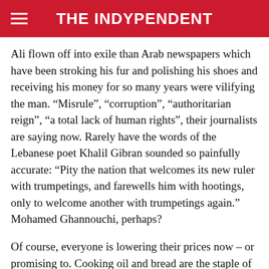THE INDYPENDENT
Ali flown off into exile than Arab newspapers which have been stroking his fur and polishing his shoes and receiving his money for so many years were vilifying the man. “Misrule”, “corruption”, “authoritarian reign”, “a total lack of human rights”, their journalists are saying now. Rarely have the words of the Lebanese poet Khalil Gibran sounded so painfully accurate: “Pity the nation that welcomes its new ruler with trumpetings, and farewells him with hootings, only to welcome another with trumpetings again.” Mohamed Ghannouchi, perhaps?
Of course, everyone is lowering their prices now – or promising to. Cooking oil and bread are the staple of the masses. So prices will come down in Tunisia and Algeria and Egypt. But only should they do so which is